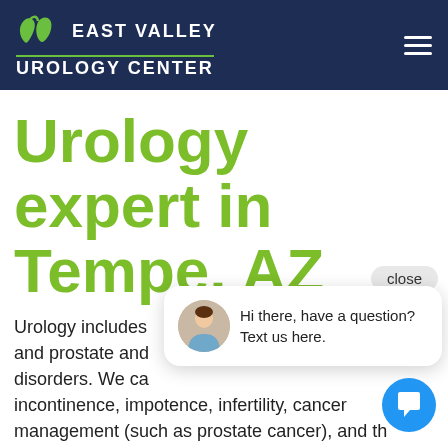[Figure (logo): East Valley Urology Center logo with green leaf/kidney icon and white text on dark navy background, hamburger menu icon top right]
Urology expert in Tempe, AZ
Urology includes and prostate and disorders. We ca incontinence, impotence, infertility, cancer management (such as prostate cancer), and the genito-urinary tract's reconstruction. East Valley Urology (EVU) has a Urology expert in Tempe, AZ that
[Figure (screenshot): Chat popup widget with close button, female avatar, and message 'Hi there, have a question? Text us here.' plus blue circular chat button]